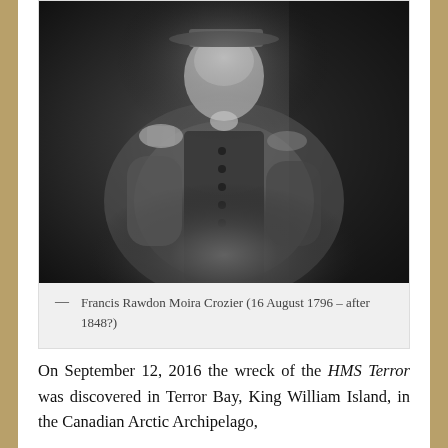[Figure (photo): Black and white historical photograph of Francis Rawdon Moira Crozier, a man in naval uniform with epaulettes and a peaked cap, posed with arms at sides, looking forward.]
— Francis Rawdon Moira Crozier (16 August 1796 – after 1848?)
On September 12, 2016 the wreck of the HMS Terror was discovered in Terror Bay, King William Island, in the Canadian Arctic Archipelago,